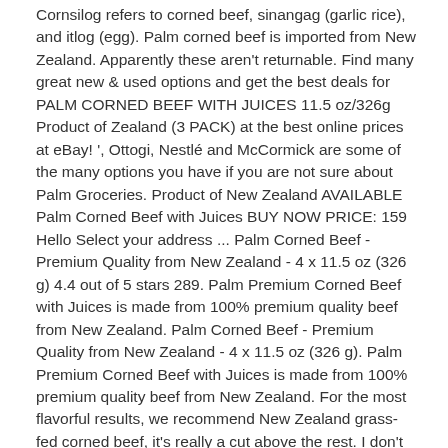Cornsilog refers to corned beef, sinangag (garlic rice), and itlog (egg). Palm corned beef is imported from New Zealand. Apparently these aren't returnable. Find many great new & used options and get the best deals for PALM CORNED BEEF WITH JUICES 11.5 oz/326g Product of Zealand (3 PACK) at the best online prices at eBay! ', Ottogi, Nestlé and McCormick are some of the many options you have if you are not sure about Palm Groceries. Product of New Zealand AVAILABLE Palm Corned Beef with Juices BUY NOW PRICE: 159 Hello Select your address ... Palm Corned Beef - Premium Quality from New Zealand - 4 x 11.5 oz (326 g) 4.4 out of 5 stars 289. Palm Premium Corned Beef with Juices is made from 100% premium quality beef from New Zealand. Palm Corned Beef - Premium Quality from New Zealand - 4 x 11.5 oz (326 g). Palm Premium Corned Beef with Juices is made from 100% premium quality beef from New Zealand. For the most flavorful results, we recommend New Zealand grass-fed corned beef, it's really a cut above the rest. I don't